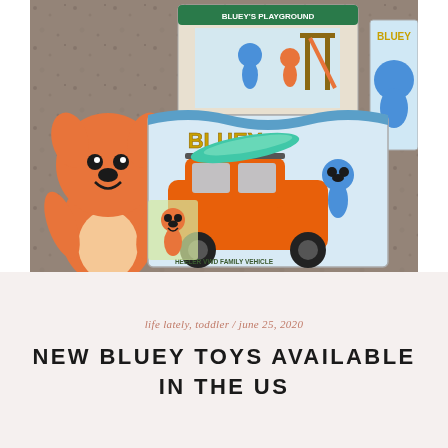[Figure (photo): Photo of Bluey toys including plush figures of Bingo (orange dog) and Bluey (blue dog), toy packaging showing 'Bluey's Playground' set and 'Heeler VWD Family Vehicle' (orange SUV toy with surfboard accessory and Bluey figure), arranged on a granite countertop.]
life lately, toddler / june 25, 2020
NEW BLUEY TOYS AVAILABLE IN THE US